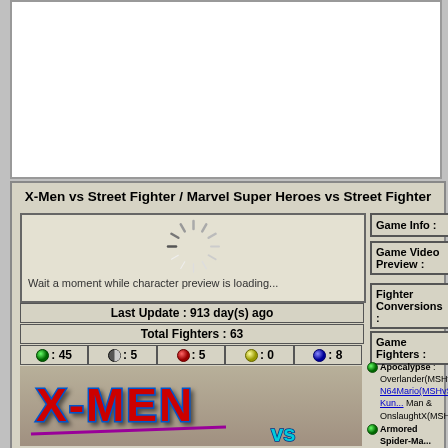[Figure (screenshot): White blank panel area at top of page (advertisement or image space)]
X-Men vs Street Fighter / Marvel Super Heroes vs Street Fighter
[Figure (screenshot): Character preview loading area with spinner icon and text 'Wait a moment while character preview is loading...']
Last Update : 913 day(s) ago
Total Fighters : 63
● : 45  ◑ : 5  ● : 5  ● : 0  ● : 8
[Figure (screenshot): X-Men vs Street Fighter game logo image showing X-MEN in 3D red/blue letters]
Game Info :
Game Video Preview :
Fighter Conversions :
Game Fighters :
Apocalypse : Overlander(MSHvSF), N64Mario(MSHvSF), Kun... Man & OnslaughtX(MSHv...
Armored Spider-Man
Black Heart : Cyanide(MSHvSF), Carbu... + Cyanide(MSHvSF)
Captain America :
Cyclops : Myth(MvSl... Sunboy(XvSF)
Gambit : Camrat(XvS...